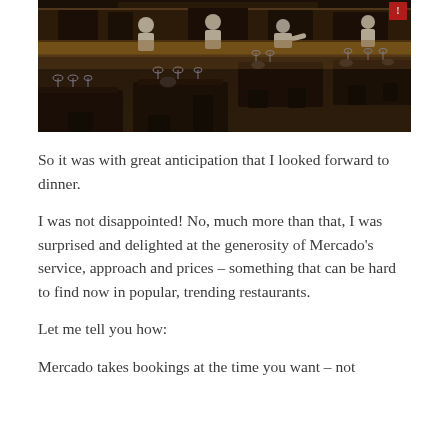[Figure (photo): Interior of Mercado restaurant showing dark wood tables set with glassware and cutlery, with an open kitchen visible in the background where chefs in white are working. The dining room has dim atmospheric lighting.]
So it was with great anticipation that I looked forward to dinner.
I was not disappointed! No, much more than that, I was surprised and delighted at the generosity of Mercado's service, approach and prices – something that can be hard to find now in popular, trending restaurants.
Let me tell you how:
Mercado takes bookings at the time you want – not